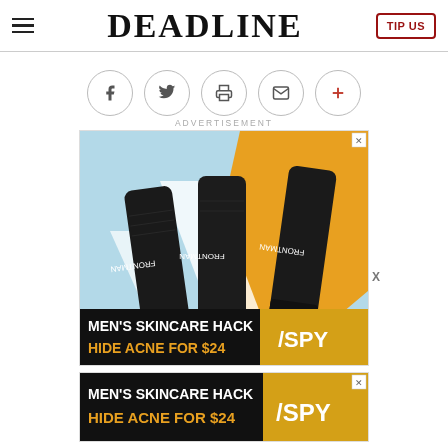DEADLINE
[Figure (screenshot): Social sharing buttons row: Facebook, Twitter, Print, Email, Plus icons in circular grey-bordered buttons]
ADVERTISEMENT
[Figure (photo): Advertisement for Frontman skincare product: three black tubes of Frontman cream on blue/orange/white geometric background, with 'MEN'S SKINCARE HACK' and 'HIDE ACNE FOR $24' text, SPY logo]
[Figure (photo): Bottom repeat advertisement strip: MEN'S SKINCARE HACK HIDE ACNE FOR $24 SPY logo]